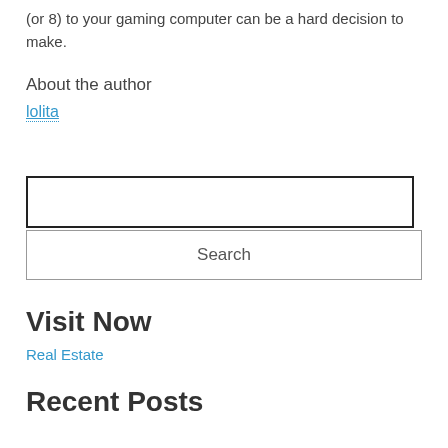(or 8) to your gaming computer can be a hard decision to make.
About the author
lolita
Search
Visit Now
Real Estate
Recent Posts